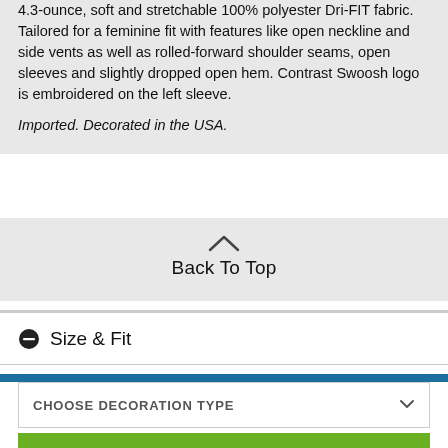4.3-ounce, soft and stretchable 100% polyester Dri-FIT fabric. Tailored for a feminine fit with features like open neckline and side vents as well as rolled-forward shoulder seams, open sleeves and slightly dropped open hem. Contrast Swoosh logo is embroidered on the left sleeve.
Imported. Decorated in the USA.
Back To Top
Size & Fit
CHOOSE DECORATION TYPE
START DESIGNING